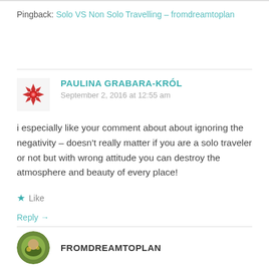Pingback: Solo VS Non Solo Travelling – fromdreamtoplan
PAULINA GRABARA-KRÓL
September 2, 2016 at 12:55 am
i especially like your comment about about ignoring the negativity – doesn't really matter if you are a solo traveler or not but with wrong attitude you can destroy the atmosphere and beauty of every place!
★ Like
Reply →
FROMDREAMTOPLAN